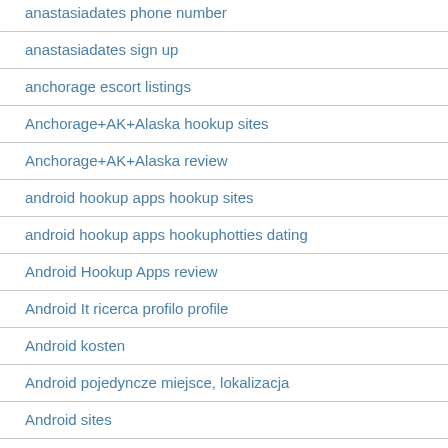anastasiadates phone number
anastasiadates sign up
anchorage escort listings
Anchorage+AK+Alaska hookup sites
Anchorage+AK+Alaska review
android hookup apps hookup sites
android hookup apps hookuphotties dating
Android Hookup Apps review
Android It ricerca profilo profile
Android kosten
Android pojedyncze miejsce, lokalizacja
Android sites
android-fr review
android-pl Zaloguj sie
android-seznamka PЕ™ihlГЎsit se